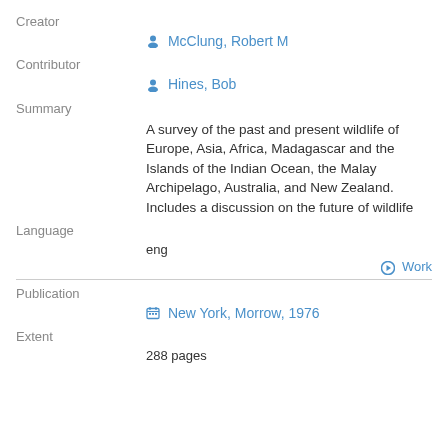Creator
McClung, Robert M
Contributor
Hines, Bob
Summary
A survey of the past and present wildlife of Europe, Asia, Africa, Madagascar and the Islands of the Indian Ocean, the Malay Archipelago, Australia, and New Zealand. Includes a discussion on the future of wildlife
Language
eng
Work
Publication
New York, Morrow, 1976
Extent
288 pages